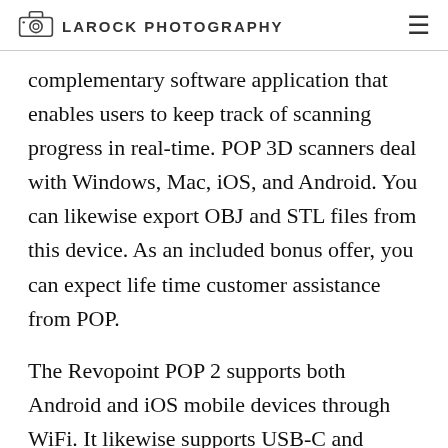LAROCK PHOTOGRAPHY
complementary software application that enables users to keep track of scanning progress in real-time. POP 3D scanners deal with Windows, Mac, iOS, and Android. You can likewise export OBJ and STL files from this device. As an included bonus offer, you can expect life time customer assistance from POP.
The Revopoint POP 2 supports both Android and iOS mobile devices through WiFi. It likewise supports USB-C and includes a